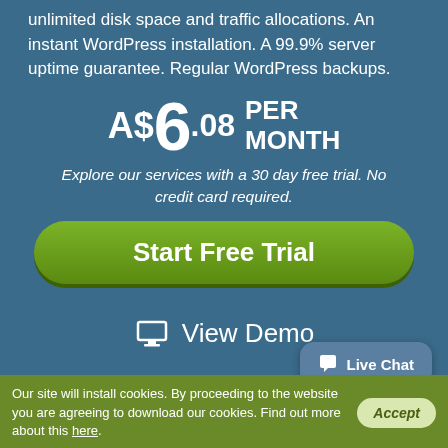unlimited disk space and traffic allocations. An instant WordPress installation. A 99.9% server uptime guarantee. Regular WordPress backups.
A$6.08 PER MONTH
Explore our services with a 30 day free trial. No credit card required.
Start Free Trial
View Demo
Take a Tour
Live Chat
Our site will install cookies. By proceeding to the website you are agreeing to download our cookies. Find out more about this here. Accept